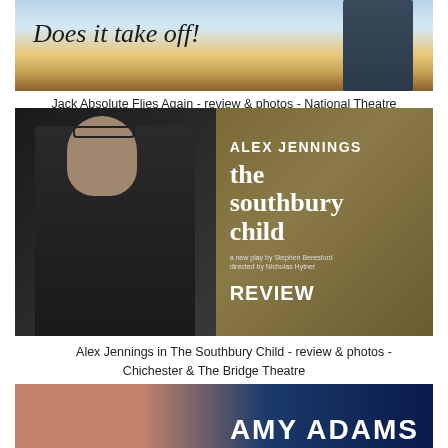[Figure (photo): Promotional image for Jack Absolute Flies Again at National Theatre, showing cursive text 'Does it take off?' on a sky background with a uniformed RAF officer on the right]
Jack Absolute Flies Again - review & photos - National Theatre
[Figure (photo): Promotional image for The Southbury Child featuring Alex Jennings as a vicar in clerical collar on the left, with golden village illustration background. Text reads: ALEX JENNINGS, the southbury child, a new play by Stephen Beresford, directed by Nicholas Hytner, REVIEW]
Alex Jennings in The Southbury Child - review & photos - Chichester & The Bridge Theatre
[Figure (photo): Promotional image partially visible showing Amy Adams, with her name in large bold white letters on a dark blue background]